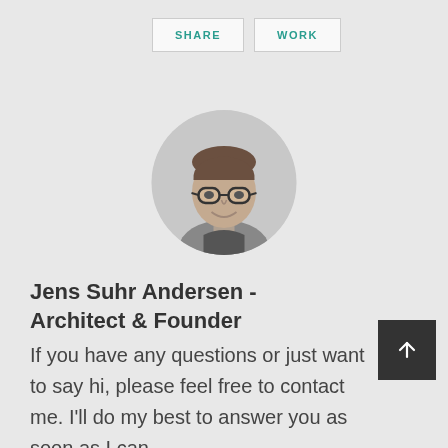SHARE  WORK
[Figure (photo): Circular black and white profile photo of a young man with glasses and short hair, smiling]
Jens Suhr Andersen - Architect & Founder
If you have any questions or just want to say hi, please feel free to contact me. I'll do my best to answer you as soon as I can.